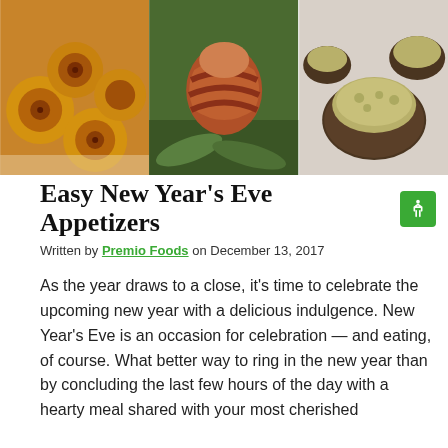[Figure (photo): Three food photos side by side: pastry pinwheels on the left, bacon-wrapped appetizers in the middle, stuffed mushrooms on the right]
Easy New Year's Eve Appetizers
Written by Premio Foods on December 13, 2017
As the year draws to a close, it's time to celebrate the upcoming new year with a delicious indulgence. New Year's Eve is an occasion for celebration — and eating, of course. What better way to ring in the new year than by concluding the last few hours of the day with a hearty meal shared with your most cherished